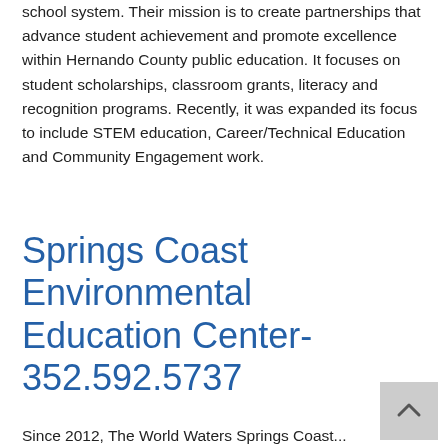support for the unfunded needs within the public school system. Their mission is to create partnerships that advance student achievement and promote excellence within Hernando County public education. It focuses on student scholarships, classroom grants, literacy and recognition programs. Recently, it was expanded its focus to include STEM education, Career/Technical Education and Community Engagement work.
Springs Coast Environmental Education Center- 352.592.5737
Since 2012, The World Waters Springs Coast...